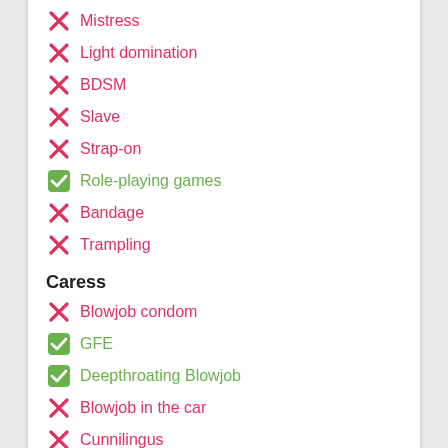Mistress
Light domination
BDSM
Slave
Strap-on
Role-playing games
Bandage
Trampling
Caress
Blowjob condom
GFE
Deepthroating Blowjob
Blowjob in the car
Cunnilingus
Anilingus
Fisting
Classic fisting